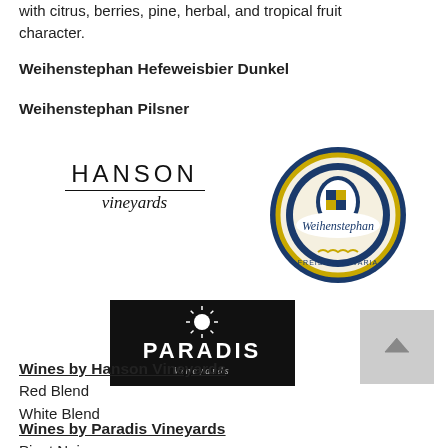with citrus, berries, pine, herbal, and tropical fruit character.
Weihenstephan Hefeweisbier Dunkel
Weihenstephan Pilsner
[Figure (logo): Hanson Vineyards logo — text 'HANSON' in spaced capitals with 'vineyards' in italic script below a horizontal rule]
[Figure (logo): Weihenstephan circular logo — blue and gold circular badge with 'Weihenstephan' in script and crest imagery]
[Figure (logo): Paradis Vineyards logo — black rectangle with sun/star icon above 'PARADIS Vineyards' in white text]
Wines by Hanson Vineyards
Red Blend
White Blend
Wines by Paradis Vineyards
Pinot Noir
Early Muscat